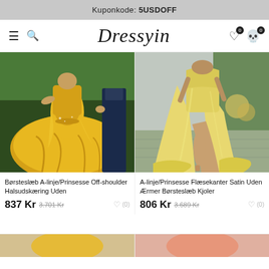Kuponkode: 5USDOFF
Dressyin — navigation bar with hamburger menu, search, logo, wishlist (0), cart (0)
[Figure (photo): Woman wearing a yellow/gold ball gown A-line off-shoulder dress with brush train, photographed outdoors with a man in a dark suit]
Børsteslæb A-linje/Prinsesse Off-shoulder Halsudskæring Uden
837 Kr  3.701 Kr  (0)
[Figure (photo): Woman wearing a pale yellow/gold A-line princess dress with high slit, ruffled satin, no sleeves, brush train, photographed outdoors]
A-linje/Prinsesse Flæsekanter Satin Uden Ærmer Børsteslæb Kjoler
806 Kr  3.689 Kr  (0)